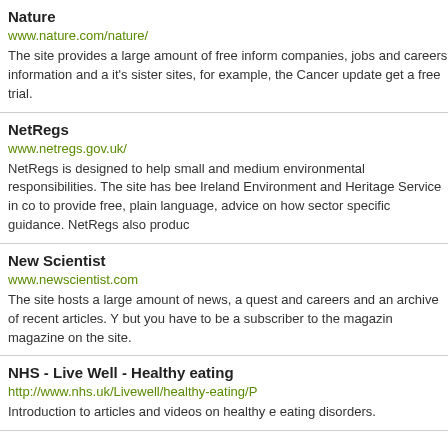Nature
www.nature.com/nature/
The site provides a large amount of free information, companies, jobs and careers information and it's sister sites, for example, the Cancer update. get a free trial.
NetRegs
www.netregs.gov.uk/
NetRegs is designed to help small and medium environmental responsibilities. The site has been Ireland Environment and Heritage Service in co to provide free, plain language, advice on how sector specific guidance. NetRegs also produc
New Scientist
www.newscientist.com
The site hosts a large amount of news, a quest and careers and an archive of recent articles. Y but you have to be a subscriber to the magazin magazine on the site.
NHS - Live Well - Healthy eating
http://www.nhs.uk/Livewell/healthy-eating/P
Introduction to articles and videos on healthy eating disorders.